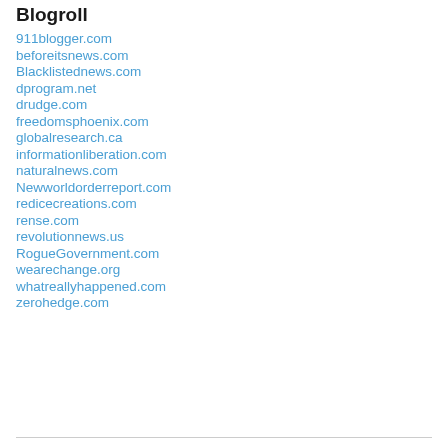Blogroll
911blogger.com
beforeitsnews.com
Blacklistednews.com
dprogram.net
drudge.com
freedomsphoenix.com
globalresearch.ca
informationliberation.com
naturalnews.com
Newworldorderreport.com
redicecreations.com
rense.com
revolutionnews.us
RogueGovernment.com
wearechange.org
whatreallyhappened.com
zerohedge.com